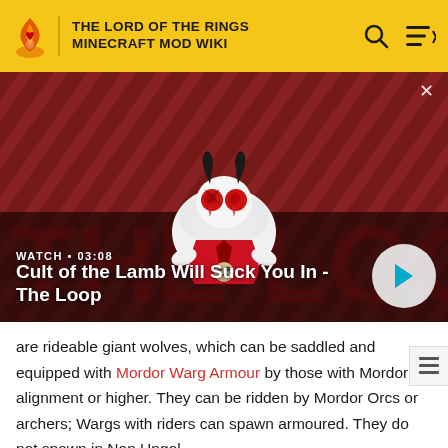THE LORD OF THE RINGS MINECRAFT MOD WIKI
[Figure (screenshot): Video thumbnail for 'Cult of the Lamb Will Suck You In - The Loop' showing an animated lamb character with red eyes on a red diagonal striped background. Duration shown: 03:08. Play button visible on right.]
are rideable giant wolves, which can be saddled and equipped with Mordor Warg Armour by those with Mordor alignment or higher. They can be ridden by Mordor Orcs or archers; Wargs with riders can spawn armoured. They do not spawn in Nan Ungol.